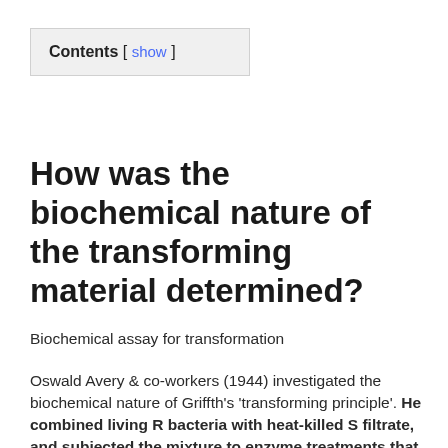| Contents |
| --- |
| [ show ] |
How was the biochemical nature of the transforming material determined?
Biochemical assay for transformation
Oswald Avery & co-workers (1944) investigated the biochemical nature of Griffth's 'transforming principle'. He combined living R bacteria with heat-killed S filtrate, and subjected the mixture to enzyme treatments that